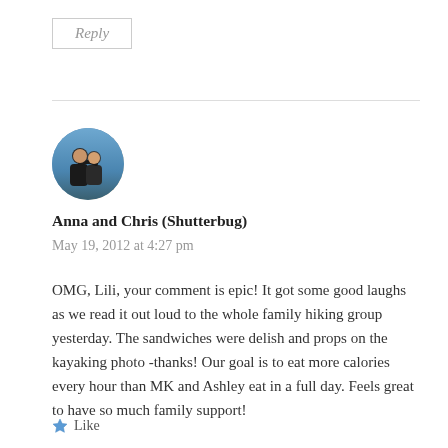Reply
[Figure (photo): Circular avatar photo of two people (a couple) outdoors against a blue sky background]
Anna and Chris (Shutterbug)
May 19, 2012 at 4:27 pm
OMG, Lili, your comment is epic! It got some good laughs as we read it out loud to the whole family hiking group yesterday. The sandwiches were delish and props on the kayaking photo -thanks! Our goal is to eat more calories every hour than MK and Ashley eat in a full day. Feels great to have so much family support!
Like